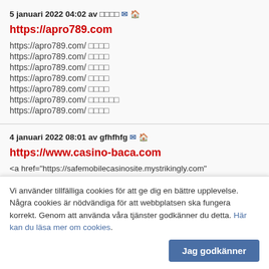5 januari 2022 04:02 av [user] ✉ 🏠
https://apro789.com
https://apro789.com/ [cjk]
https://apro789.com/ [cjk]
https://apro789.com/ [cjk]
https://apro789.com/ [cjk]
https://apro789.com/ [cjk]
https://apro789.com/ [cjk longer]
https://apro789.com/ [cjk]
4 januari 2022 08:01 av gfhfhfg ✉ 🏠
https://www.casino-baca.com
<a href="https://safemobilecasinosite.mystrikingly.com"
target="_blank">[cjk]</a>
Vi använder tillfälliga cookies för att ge dig en bättre upplevelse. Några cookies är nödvändiga för att webbplatsen ska fungera korrekt. Genom att använda våra tjänster godkänner du detta. Här kan du läsa mer om cookies.
Jag godkänner